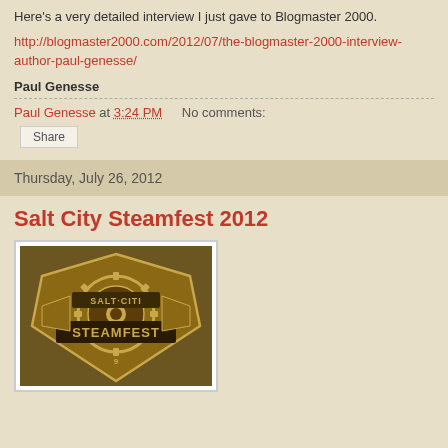Here's a very detailed interview I just gave to Blogmaster 2000.
http://blogmaster2000.com/2012/07/the-blogmaster-2000-interview-author-paul-genesse/
Paul Genesse
Paul Genesse at 3:24 PM   No comments:
Share
Thursday, July 26, 2012
Salt City Steamfest 2012
[Figure (logo): Salt City Steamfest steampunk logo with gears]